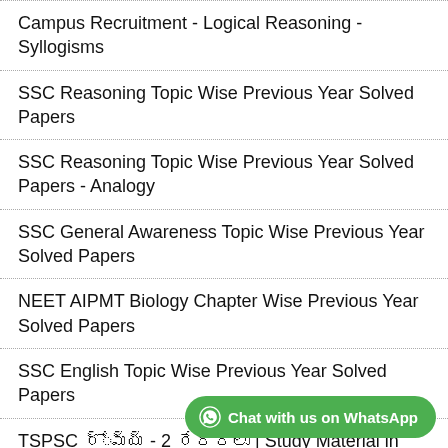Campus Recruitment - Logical Reasoning - Syllogisms
SSC Reasoning Topic Wise Previous Year Solved Papers
SSC Reasoning Topic Wise Previous Year Solved Papers - Analogy
SSC General Awareness Topic Wise Previous Year Solved Papers
NEET AIPMT Biology Chapter Wise Previous Year Solved Papers
SSC English Topic Wise Previous Year Solved Papers
TSPSC గ్రూప్స్ - 2 పేపర్లు | Study Material in Telugu
Telangana History Vandemataram and Other Movements in Telangana